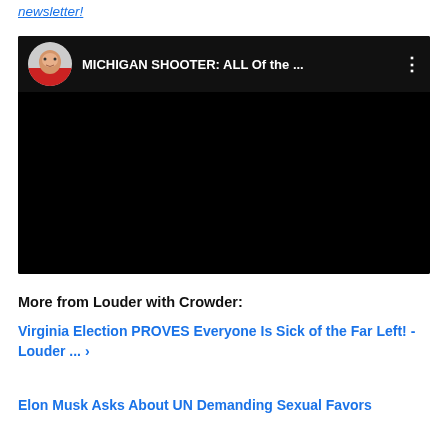newsletter!
[Figure (screenshot): YouTube-style embedded video with black background, showing a circular avatar of a man in a red shirt, video title 'MICHIGAN SHOOTER: ALL Of the ...' and a three-dot menu icon.]
More from Louder with Crowder:
Virginia Election PROVES Everyone Is Sick of the Far Left! - Louder ... ›
Elon Musk Asks About UN Demanding Sexual Favors